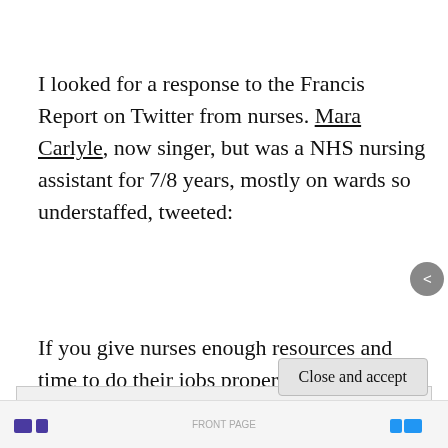I looked for a response to the Francis Report on Twitter from nurses. Mara Carlyle, now singer, but was a NHS nursing assistant for 7/8 years, mostly on wards so understaffed, tweeted:
If you give nurses enough resources and time to do their jobs properly, guess what? They will
Privacy & Cookies: This site uses cookies. By continuing to use this website, you agree to their use.
To find out more, including how to control cookies, see here:
Cookie Policy
Close and accept